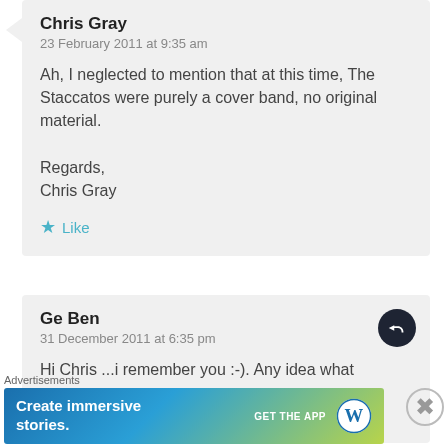Chris Gray
23 February 2011 at 9:35 am
Ah, I neglected to mention that at this time, The Staccatos were purely a cover band, no original material.

Regards,
Chris Gray
Like
Ge Ben
31 December 2011 at 6:35 pm
Hi Chris ...i remember you :-). Any idea what
Advertisements
[Figure (infographic): WordPress advertisement banner: 'Create immersive stories. GET THE APP' with WordPress logo on gradient blue-green background]